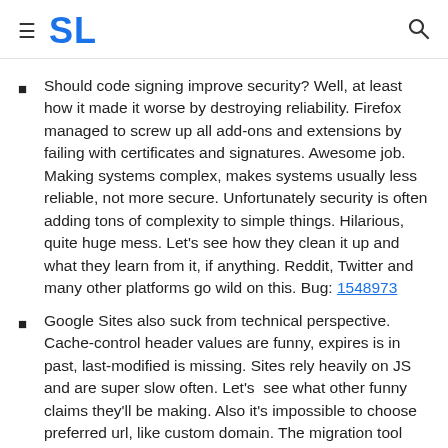SL
Should code signing improve security? Well, at least how it made it worse by destroying reliability. Firefox managed to screw up all add-ons and extensions by failing with certificates and signatures. Awesome job. Making systems complex, makes systems usually less reliable, not more secure. Unfortunately security is often adding tons of complexity to simple things. Hilarious, quite huge mess. Let's see how they clean it up and what they learn from it, if anything. Reddit, Twitter and many other platforms go wild on this. Bug: 1548973
Google Sites also suck from technical perspective. Cache-control header values are funny, expires is in past, last-modified is missing. Sites rely heavily on JS and are super slow often. Let's  see what other funny claims they'll be making. Also it's impossible to choose preferred url, like custom domain. The migration tool